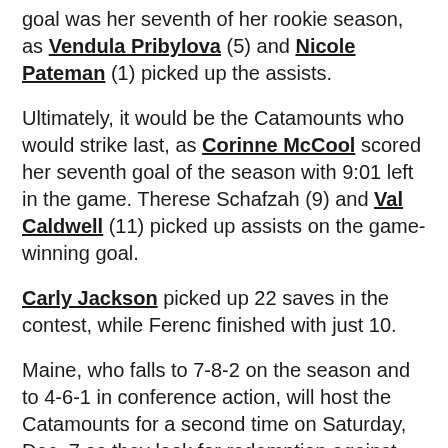goal was her seventh of her rookie season, as Vendula Pribylova (5) and Nicole Pateman (1) picked up the assists.
Ultimately, it would be the Catamounts who would strike last, as Corinne McCool scored her seventh goal of the season with 9:01 left in the game. Therese Schafzah (9) and Val Caldwell (11) picked up assists on the game-winning goal.
Carly Jackson picked up 22 saves in the contest, while Ferenc finished with just 10.
Maine, who falls to 7-8-2 on the season and to 4-6-1 in conference action, will host the Catamounts for a second time on Saturday, Dec. 7 as they look for redemption against their conference rival. Puck drop is scheduled for 2:00 p.m.